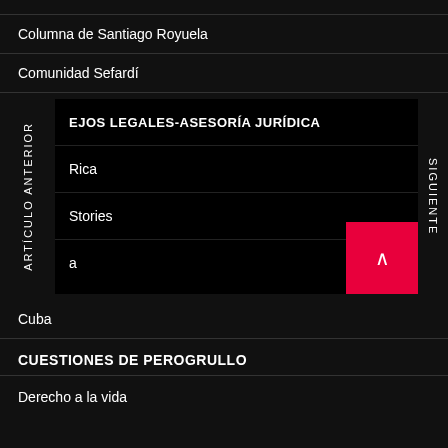Columna de Santiago Royuela
Comunidad Sefardí
EJOS LEGALES-ASESORÍA JURÍDICA
Rica
Stories
a
ARTÍCULO ANTERIOR
SIGUIENTE
Cuba
CUESTIONES DE PEROGRULLO
Derecho a la vida